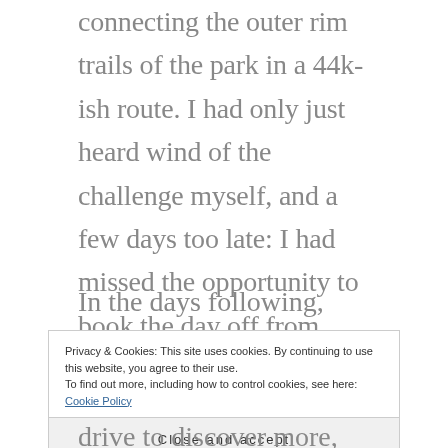connecting the outer rim trails of the park in a 44k-ish route. I had only just heard wind of the challenge myself, and a few days too late: I had missed the opportunity to book the day off from work.
In the days following, haunted by the
Privacy & Cookies: This site uses cookies. By continuing to use this website, you agree to their use.
To find out more, including how to control cookies, see here: Cookie Policy
Close and accept
drive to discover more, there and more. This is